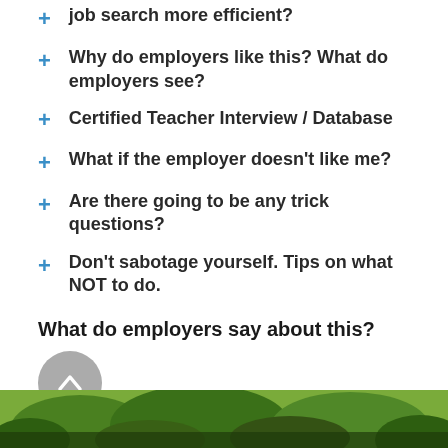job search more efficient?
Why do employers like this? What do employers see?
Certified Teacher Interview / Database
What if the employer doesn't like me?
Are there going to be any trick questions?
Don't sabotage yourself. Tips on what NOT to do.
What do employers say about this?
[Figure (photo): Scroll-to-top button (grey circle with upward chevron) and a photo strip showing green foliage/trees at the bottom of the page.]